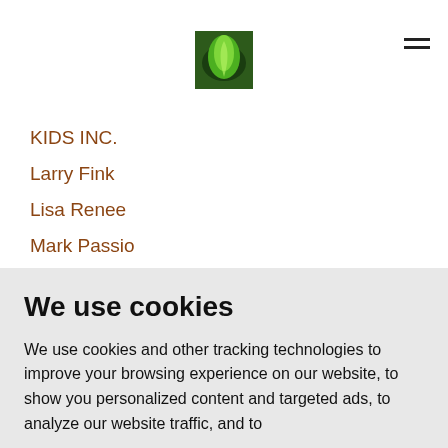[Logo: green leaf image] [Hamburger menu icon]
KIDS INC.
Larry Fink
Lisa Renee
Mark Passio
Medical Tyranny
Michael Swift 1987 Gay Manifesto
Mind Control
Mortimer Buckley
We use cookies
We use cookies and other tracking technologies to improve your browsing experience on our website, to show you personalized content and targeted ads, to analyze our website traffic, and to